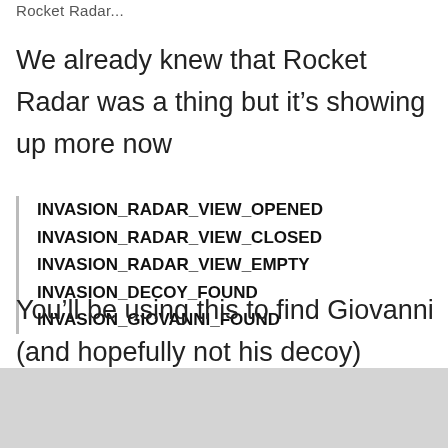Rocket Radar...
We already knew that Rocket Radar was a thing but it's showing up more now
INVASION_RADAR_VIEW_OPENED
INVASION_RADAR_VIEW_CLOSED
INVASION_RADAR_VIEW_EMPTY
INVASION_DECOY_FOUND
INVASION_GIOVANNI_FOUND
You'll be using this to find Giovanni (and hopefully not his decoy)